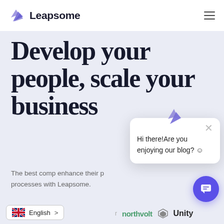Leapsome
Develop your people, scale your business
The best comp… enhance their p… processes with Leapsome.
[Figure (screenshot): Chat popup overlay with Leapsome logo bird icon at top, close X button, and message: Hi there!Are you enjoying our blog? ☺]
[Figure (logo): Chat support button - purple circle with chat icon]
English >
[Figure (logo): northvolt logo and Unity logo with hexagon icon]